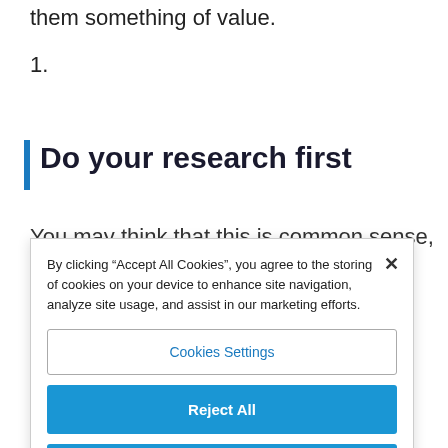them something of value.
1.
Do your research first
You may think that this is common sense, but
By clicking “Accept All Cookies”, you agree to the storing of cookies on your device to enhance site navigation, analyze site usage, and assist in our marketing efforts.
Cookies Settings
Reject All
Accept All Cookies